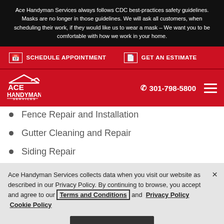Ace Handyman Services always follows CDC best-practices safety guidelines. Masks are no longer in those guidelines. We will ask all customers, when scheduling their work, if they would like us to wear a mask – We want you to be comfortable with how we work in your home.
SCHEDULE APPOINTMENT   GET AN ESTIMATE
[Figure (logo): Ace Handyman Services logo with house icon, white on red background. Phone number 301-798-5800 and hamburger menu icon on right.]
Fence Repair and Installation
Gutter Cleaning and Repair
Siding Repair
Ace Handyman Services collects data when you visit our website as described in our Privacy Policy. By continuing to browse, you accept and agree to our Terms and Conditions and  Privacy Policy  Cookie Policy
OK